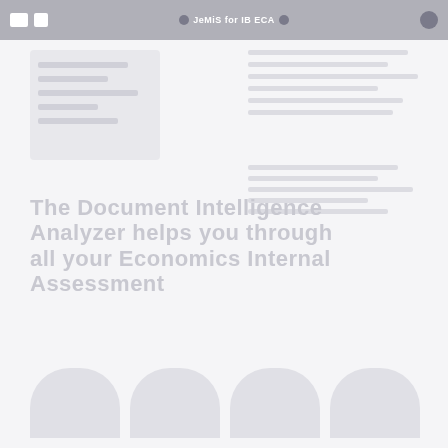JeMiS for IB ECA
[Figure (screenshot): Faded/watermarked page showing a web application interface with navigation header, thumbnail images, and large title text reading 'The Document Intelligence Analyzer helps you through all your Economics Internal Assessment' with bottom thumbnail navigation elements]
The Document Intelligence Analyzer helps you through all your Economics Internal Assessment